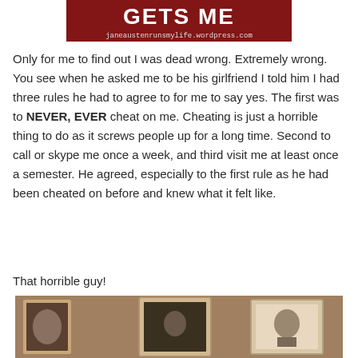[Figure (screenshot): Banner image with text 'GETS ME' and URL janeaustenrunsmylife.wordpress.com on a dark red/maroon background]
Only for me to find out I was dead wrong. Extremely wrong. You see when he asked me to be his girlfriend I told him I had three rules he had to agree to for me to say yes. The first was to NEVER, EVER cheat on me. Cheating is just a horrible thing to do as it screws people up for a long time. Second to call or skype me once a week, and third visit me at least once a semester. He agreed, especially to the first rule as he had been cheated on before and knew what it felt like.
That horrible guy!
[Figure (photo): Indoor photo showing framed pictures hanging on a wall in what appears to be a home interior]